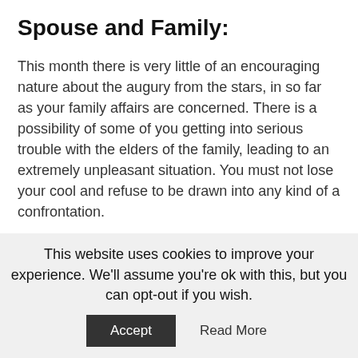Spouse and Family:
This month there is very little of an encouraging nature about the augury from the stars, in so far as your family affairs are concerned. There is a possibility of some of you getting into serious trouble with the elders of the family, leading to an extremely unpleasant situation. You must not lose your cool and refuse to be drawn into any kind of a confrontation.
The family atmosphere would be tension-ridden with no signs of harmony among the members in evidence. Such circumstances would have a negative effect on the children, who would tend to be irritable and disobedient. Pay special attention to them.
This website uses cookies to improve your experience. We'll assume you're ok with this, but you can opt-out if you wish.